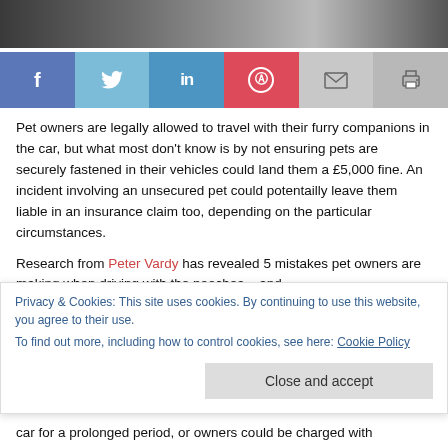[Figure (photo): Top portion of a photo showing people, partially cropped]
[Figure (infographic): Social media sharing buttons: Facebook, Twitter, LinkedIn, Pinterest, Email, Print]
Pet owners are legally allowed to travel with their furry companions in the car, but what most don't know is by not ensuring pets are securely fastened in their vehicles could land them a £5,000 fine. An incident involving an unsecured pet could potentailly leave them liable in an insurance claim too, depending on the particular circumstances.
Research from Peter Vardy has revealed 5 mistakes pet owners are making when driving with the pooches – and
Privacy & Cookies: This site uses cookies. By continuing to use this website, you agree to their use.
To find out more, including how to control cookies, see here: Cookie Policy
Close and accept
car for a prolonged period, or owners could be charged with